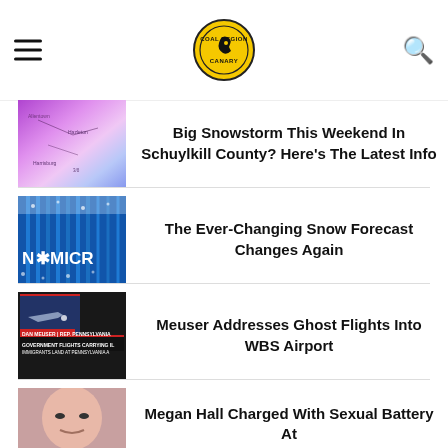Coal Region Canary
Big Snowstorm This Weekend In Schuylkill County? Here's The Latest Info
The Ever-Changing Snow Forecast Changes Again
Meuser Addresses Ghost Flights Into WBS Airport
Megan Hall Charged With Sexual Battery At